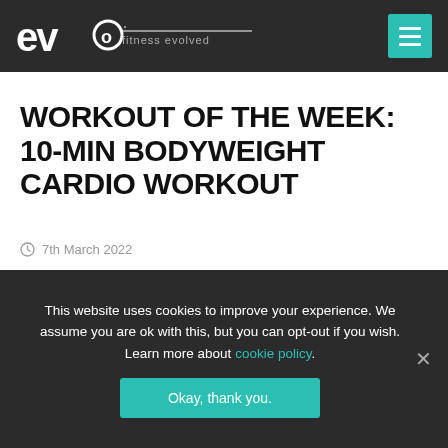evo fitness evolved
WORKOUT OF THE WEEK: 10-MIN BODYWEIGHT CARDIO WORKOUT
7th March 2022
[Figure (photo): Dark textured background image with a vertical dark side tab labeled 'WORKOUT' in teal text]
This website uses cookies to improve your experience. We assume you are ok with this, but you can opt-out if you wish. Learn more about cookie policy.
Okay, thank you.